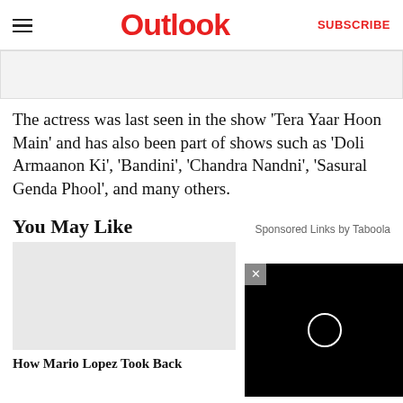Outlook  SUBSCRIBE
[Figure (photo): Gray placeholder image area at top of article]
The actress was last seen in the show ‘Tera Yaar Hoon Main’ and has also been part of shows such as ‘Doli Armaanon Ki’, ‘Bandini’, ‘Chandra Nandni’, ‘Sasural Genda Phool’, and many others.
You May Like
Sponsored Links by Taboola
[Figure (photo): Thumbnail image for sponsored article card on left]
How Mario Lopez Took Back
[Figure (screenshot): Black video player overlay with close button (x) and circular loading indicator]